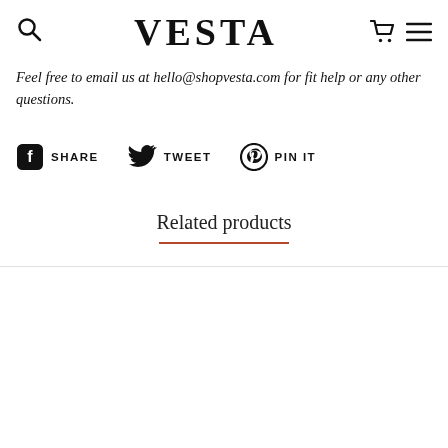VESTA
Feel free to email us at hello@shopvesta.com for fit help or any other questions.
SHARE  TWEET  PIN IT
Related products